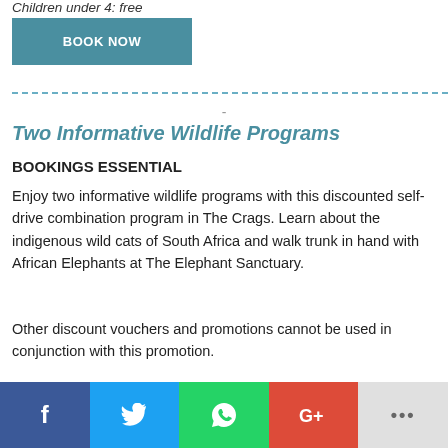Children under 4: free
BOOK NOW
-
Two Informative Wildlife Programs
BOOKINGS ESSENTIAL
Enjoy two informative wildlife programs with this discounted self-drive combination program in The Crags. Learn about the indigenous wild cats of South Africa and walk trunk in hand with African Elephants at The Elephant Sanctuary.
Other discount vouchers and promotions cannot be used in conjunction with this promotion.
[Figure (infographic): Social share buttons: Facebook, Twitter, WhatsApp, Google+, More (...)]